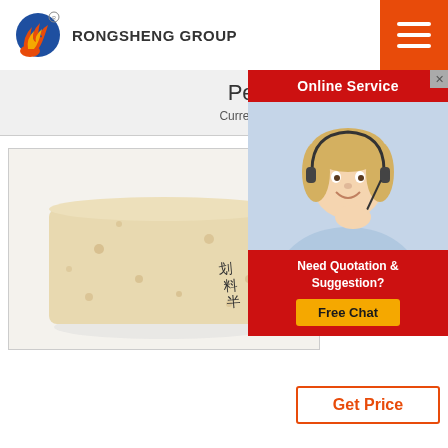[Figure (logo): Rongsheng Group logo with flame and globe]
RONGSHENG GROUP
Perlite For Concrete
Current Location: Home > Perlite Fo
[Figure (photo): A cream/tan colored rectangular insulating brick with Chinese handwriting on it]
How
Ver
Por
Perlite insulating concrete consists of an appropriate
[Figure (photo): Online Service popup with female customer service agent wearing headset]
Online Service
Need Quotation & Suggestion?
Free Chat
Get Price